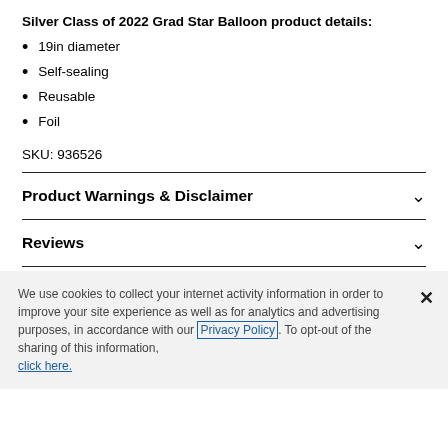Silver Class of 2022 Grad Star Balloon product details:
19in diameter
Self-sealing
Reusable
Foil
SKU: 936526
Product Warnings & Disclaimer
Reviews
We use cookies to collect your internet activity information in order to improve your site experience as well as for analytics and advertising purposes, in accordance with our Privacy Policy. To opt-out of the sharing of this information, click here.